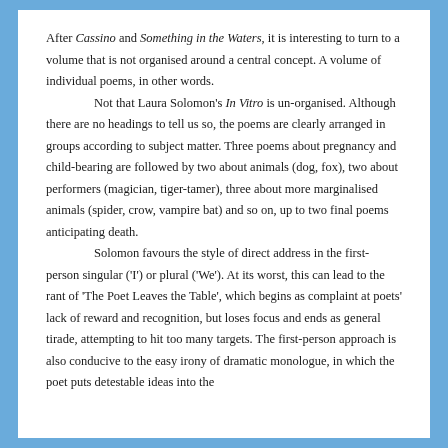After Cassino and Something in the Waters, it is interesting to turn to a volume that is not organised around a central concept. A volume of individual poems, in other words.

Not that Laura Solomon's In Vitro is un-organised. Although there are no headings to tell us so, the poems are clearly arranged in groups according to subject matter. Three poems about pregnancy and child-bearing are followed by two about animals (dog, fox), two about performers (magician, tiger-tamer), three about more marginalised animals (spider, crow, vampire bat) and so on, up to two final poems anticipating death.

Solomon favours the style of direct address in the first-person singular ('I') or plural ('We'). At its worst, this can lead to the rant of 'The Poet Leaves the Table', which begins as complaint at poets' lack of reward and recognition, but loses focus and ends as general tirade, attempting to hit too many targets. The first-person approach is also conducive to the easy irony of dramatic monologue, in which the poet puts detestable ideas into the